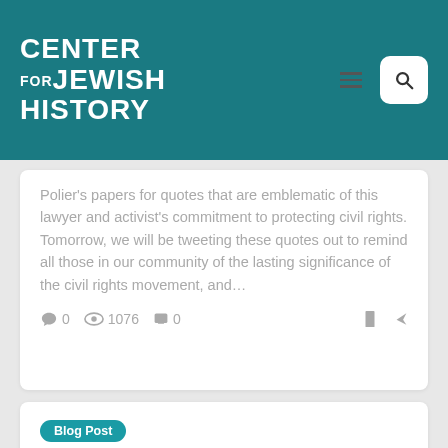CENTER FOR JEWISH HISTORY
Polier's papers for quotes that are emblematic of this lawyer and activist's commitment to protecting civil rights. Tomorrow, we will be tweeting these quotes out to remind all those in our community of the lasting significance of the civil rights movement, and...
0  1076  0
Blog Post
A Night at the Ballpark
By James Benjamin Nadel, Communications Outreach Associate The Chicago Cubs took center stage in the world of baseball, winning their first World Series Championship in 108 years. But the Cubs are not the only baseball team that has recently achieved a first